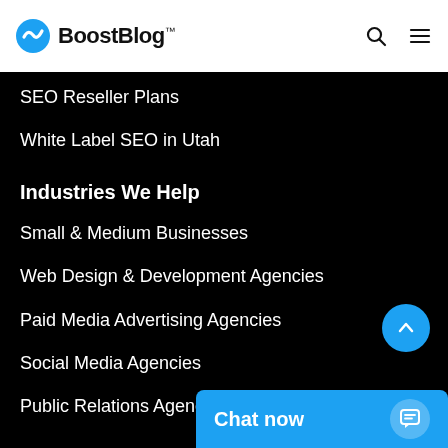BoostBlog
SEO Reseller Plans
White Label SEO in Utah
Industries We Help
Small & Medium Businesses
Web Design & Development Agencies
Paid Media Advertising Agencies
Social Media Agencies
Public Relations Agencies
Global
Chat now